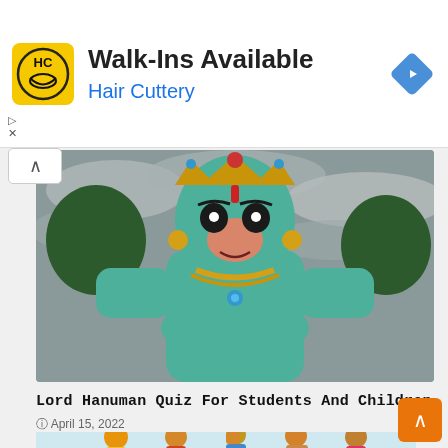[Figure (screenshot): Hair Cuttery advertisement banner with logo, Walk-Ins Available text, and navigation icon]
[Figure (photo): Large green statue of Lord Hanuman with crown and jewelry, photographed against cloudy sky with trees in background]
Lord Hanuman Quiz For Students And Children
April 15, 2022
[Figure (photo): Colorful illustration of Indian cultural figures in traditional clothing, partially visible at bottom of page]